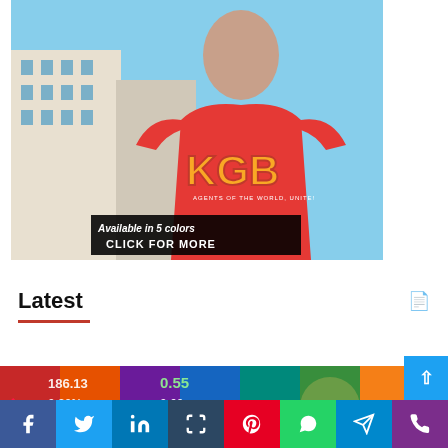[Figure (photo): Advertisement banner showing a man wearing a red KGB t-shirt with text 'High quality funny t-shirts', 'Available in 5 colors', 'CLICK FOR MORE']
Latest
[Figure (photo): Stock market ticker strip showing financial numbers and colorful background with red down arrow]
[Figure (infographic): Social media share buttons bar: Facebook, Twitter, LinkedIn, Tumblr, Pinterest, WhatsApp, Telegram, Phone]